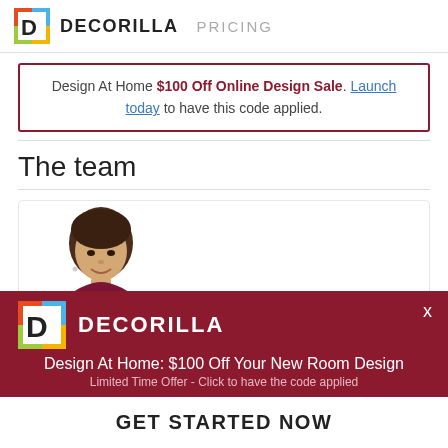DECORILLA   PRICING
Design At Home $100 Off Online Design Sale. Launch today to have this code applied.
The team
[Figure (photo): Profile photo of a young woman with dark hair, smiling, against a white background]
[Figure (logo): Decorilla popup modal with logo, headline 'Design At Home: $100 Off Your New Room Design', subtext 'Limited Time Offer - Click to have the code applied', and a GET STARTED NOW button]